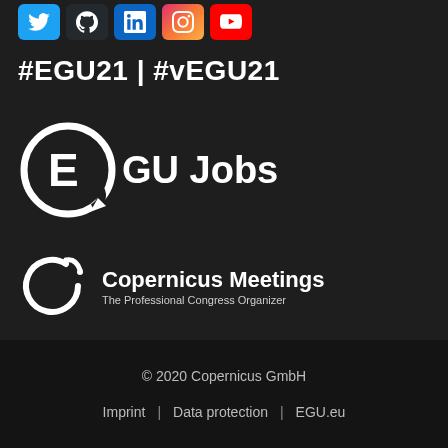[Figure (logo): Row of social media icons: Twitter (blue), GitHub (dark), LinkedIn (blue), Instagram (gradient), YouTube (red)]
#EGU21 | #vEGU21
[Figure (logo): EGU Jobs logo with circular arrow icon and bold text 'EGU Jobs']
[Figure (logo): Copernicus Meetings logo with stylized C icon, title 'Copernicus Meetings', subtitle 'The Professional Congress Organizer']
© 2020 Copernicus GmbH
Imprint | Data protection | EGU.eu